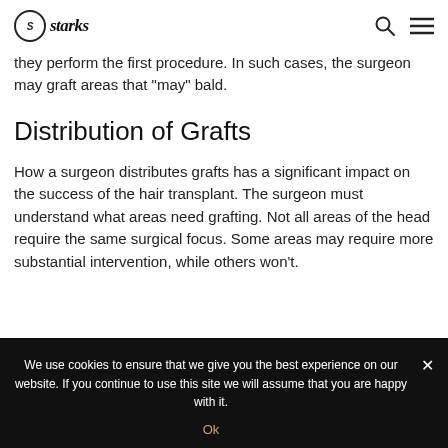starks (logo/nav bar)
they perform the first procedure. In such cases, the surgeon may graft areas that "may" bald.
Distribution of Grafts
How a surgeon distributes grafts has a significant impact on the success of the hair transplant. The surgeon must understand what areas need grafting. Not all areas of the head require the same surgical focus. Some areas may require more substantial intervention, while others won't.
We use cookies to ensure that we give you the best experience on our website. If you continue to use this site we will assume that you are happy with it. Ok